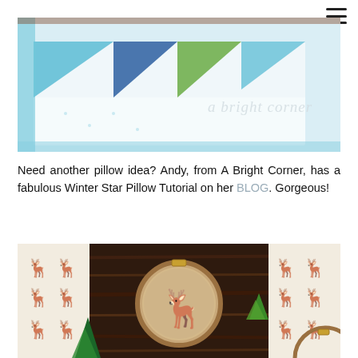[Figure (photo): Photo of a quilt/pillow with colorful triangle fabric pieces in teal, green, and navy, with a 'a bright corner' watermark text overlay]
Need another pillow idea? Andy, from A Bright Corner, has a fabulous Winter Star Pillow Tutorial on her BLOG. Gorgeous!
[Figure (photo): Photo of deer embroidery hoop art on a dark wood background, surrounded by cream fabric with black deer/antler silhouette pattern, with pine branches as decoration]